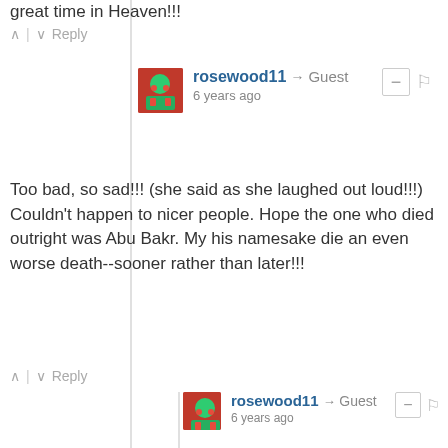great time in Heaven!!!
Reply
rosewood11 → Guest
6 years ago
Too bad, so sad!!! (she said as she laughed out loud!!!) Couldn't happen to nicer people. Hope the one who died outright was Abu Bakr. My his namesake die an even worse death--sooner rather than later!!!
Reply
rosewood11 → Guest
6 years ago
Praised be Jesus Christ, now and forever!!!
Reply
rosewood11 → Wilma Mills
6 years ago
I understand that a muslim man killed by a woman goes straight to hell. Guess that means muhammad is exactly where he deserves to be!!! PITTY!!!